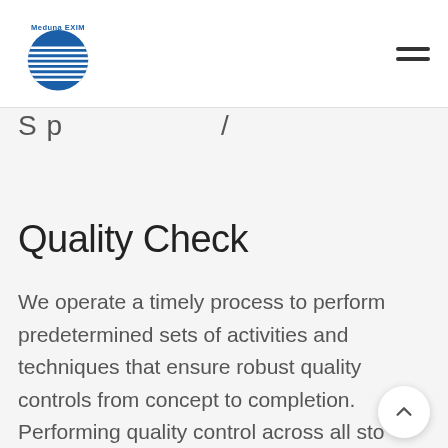Meduna EXIM [logo] [hamburger menu]
S p          /
Quality Check
We operate a timely process to perform predetermined sets of activities and techniques that ensure robust quality controls from concept to completion. Performing quality control across all sto provides lower costs and reduces the risk of losses, minimizes lead times and facilitates